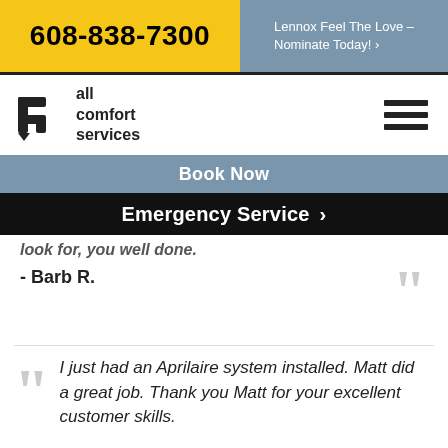608-838-7300
Lennox Feel The Love – Nominate Today! ›
[Figure (logo): All Comfort Services logo with stylized 'ac' letters and text 'all comfort services']
Book Now
Emergency Service ›
look for, you well done.
- Barb R.
I just had an Aprilaire system installed. Matt did a great job. Thank you Matt for your excellent customer skills.